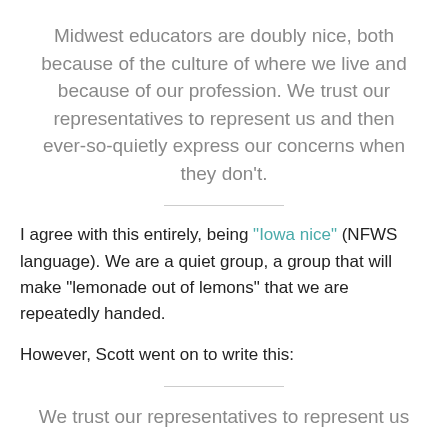Midwest educators are doubly nice, both because of the culture of where we live and because of our profession. We trust our representatives to represent us and then ever-so-quietly express our concerns when they don't.
I agree with this entirely, being "Iowa nice" (NFWS language). We are a quiet group, a group that will make "lemonade out of lemons" that we are repeatedly handed.
However, Scott went on to write this:
We trust our representatives to represent us